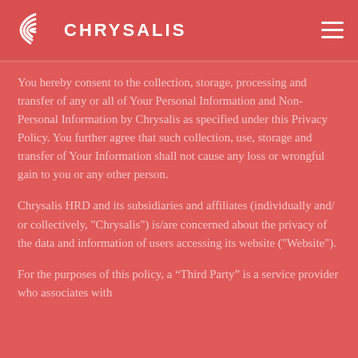CHRYSALIS
You hereby consent to the collection, storage, processing and transfer of any or all of Your Personal Information and Non-Personal Information by Chrysalis as specified under this Privacy Policy. You further agree that such collection, use, storage and transfer of Your Information shall not cause any loss or wrongful gain to you or any other person.
Chrysalis HRD and its subsidiaries and affiliates (individually and/ or collectively, "Chrysalis") is/are concerned about the privacy of the data and information of users accessing its website ("Website").
For the purposes of this policy, a “Third Party” is a service provider who associates with